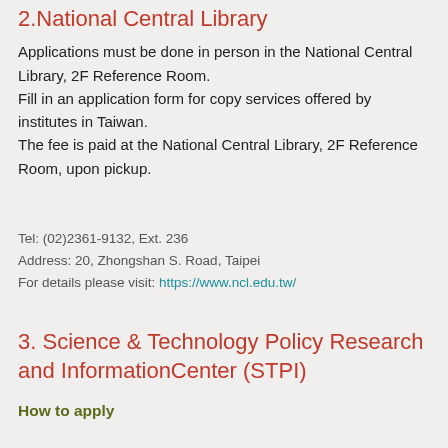2.National Central Library
Applications must be done in person in the National Central Library, 2F Reference Room.
Fill in an application form for copy services offered by institutes in Taiwan.
The fee is paid at the National Central Library, 2F Reference Room, upon pickup.
Tel: (02)2361-9132, Ext. 236
Address: 20, Zhongshan S. Road, Taipei
For details please visit: https://www.ncl.edu.tw/
3. Science & Technology Policy Research and InformationCenter (STPI)
How to apply